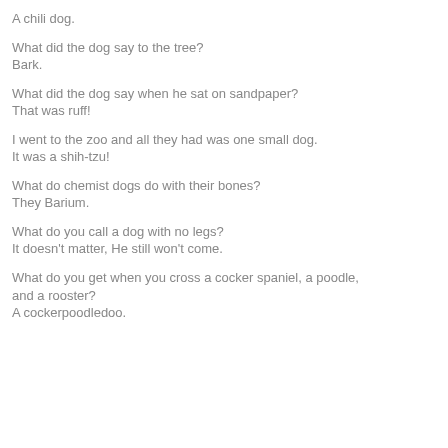A chili dog.
What did the dog say to the tree?
Bark.
What did the dog say when he sat on sandpaper?
That was ruff!
I went to the zoo and all they had was one small dog.
It was a shih-tzu!
What do chemist dogs do with their bones?
They Barium.
What do you call a dog with no legs?
It doesn't matter, He still won't come.
What do you get when you cross a cocker spaniel, a poodle, and a rooster?
A cockerpoodledoo.